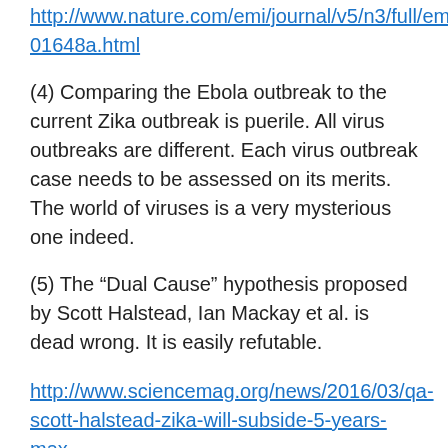http://www.nature.com/emi/journal/v5/n3/full/emi201648a.html
(4) Comparing the Ebola outbreak to the current Zika outbreak is puerile. All virus outbreaks are different. Each virus outbreak case needs to be assessed on its merits. The world of viruses is a very mysterious one indeed.
(5) The “Dual Cause” hypothesis proposed by Scott Halstead, Ian Mackay et al. is dead wrong. It is easily refutable.
http://www.sciencemag.org/news/2016/03/qa-scott-halstead-zika-will-subside-5-years-max